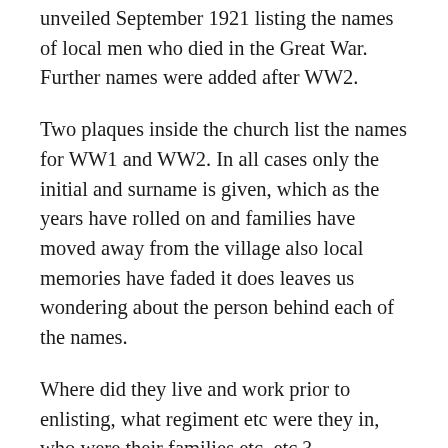unveiled September 1921 listing the names of local men who died in the Great War. Further names were added after WW2.
Two plaques inside the church list the names for WW1 and WW2. In all cases only the initial and surname is given, which as the years have rolled on and families have moved away from the village also local memories have faded it does leaves us wondering about the person behind each of the names.
Where did they live and work prior to enlisting, what regiment etc were they in, who were their families etc. etc.?
With the centenary of the start of the Great War now approaching I am trying to find more about the people